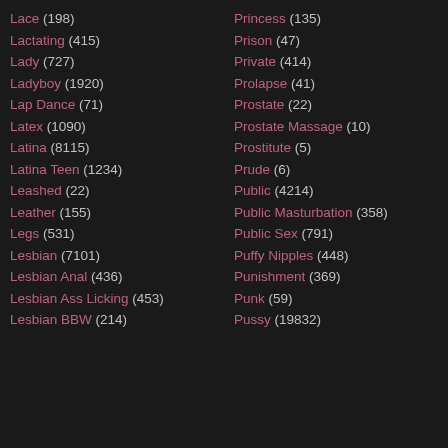Lace (198)
Lactating (415)
Lady (727)
Ladyboy (1920)
Lap Dance (71)
Latex (1090)
Latina (8115)
Latina Teen (1234)
Leashed (22)
Leather (155)
Legs (531)
Lesbian (7101)
Lesbian Anal (436)
Lesbian Ass Licking (453)
Lesbian BBW (214)
Princess (135)
Prison (47)
Private (414)
Prolapse (41)
Prostate (22)
Prostate Massage (10)
Prostitute (5)
Prude (6)
Public (4214)
Public Masturbation (358)
Public Sex (791)
Puffy Nipples (448)
Punishment (369)
Punk (59)
Pussy (19832)